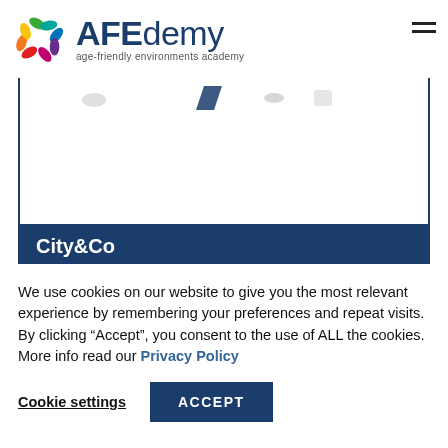[Figure (logo): AFEdemy logo — colorful pinwheel icon with AFEdemy wordmark and tagline 'age-friendly environments academy']
[Figure (screenshot): Partial card/panel with blue border showing faint partner logos and a blue parallelogram shape, with dark blue bottom bar reading 'City&Co']
City&Co
We use cookies on our website to give you the most relevant experience by remembering your preferences and repeat visits. By clicking “Accept”, you consent to the use of ALL the cookies. More info read our Privacy Policy
Cookie settings
ACCEPT